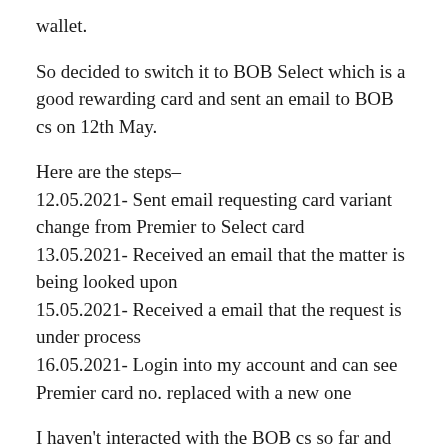wallet.
So decided to switch it to BOB Select which is a good rewarding card and sent an email to BOB cs on 12th May.
Here are the steps–
12.05.2021- Sent email requesting card variant change from Premier to Select card
13.05.2021- Received an email that the matter is being looked upon
15.05.2021- Received a email that the request is under process
16.05.2021- Login into my account and can see Premier card no. replaced with a new one
I haven't interacted with the BOB cs so far and my 1st interaction via email has been fruitful